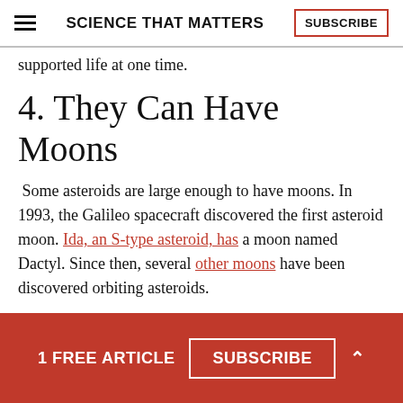SCIENCE THAT MATTERS | SUBSCRIBE
supported life at one time.
4. They Can Have Moons
Some asteroids are large enough to have moons. In 1993, the Galileo spacecraft discovered the first asteroid moon. Ida, an S-type asteroid, has a moon named Dactyl. Since then, several other moons have been discovered orbiting asteroids.
They include one named Petit-Prince which is eight-miles-wide and orbits the asteroid, Eugenia. The
1 FREE ARTICLE  SUBSCRIBE